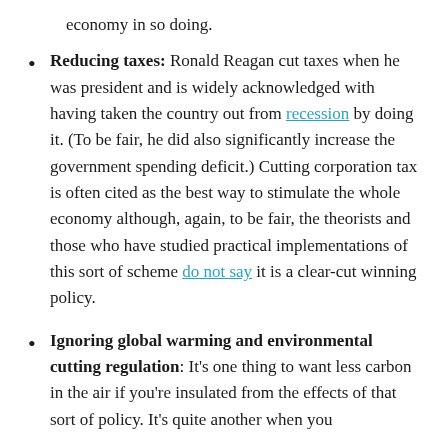economy in so doing.
Reducing taxes: Ronald Reagan cut taxes when he was president and is widely acknowledged with having taken the country out from recession by doing it. (To be fair, he did also significantly increase the government spending deficit.) Cutting corporation tax is often cited as the best way to stimulate the whole economy although, again, to be fair, the theorists and those who have studied practical implementations of this sort of scheme do not say it is a clear-cut winning policy.
Ignoring global warming and environmental cutting regulation: It's one thing to want less carbon in the air if you're insulated from the effects of that sort of policy. It's quite another when you